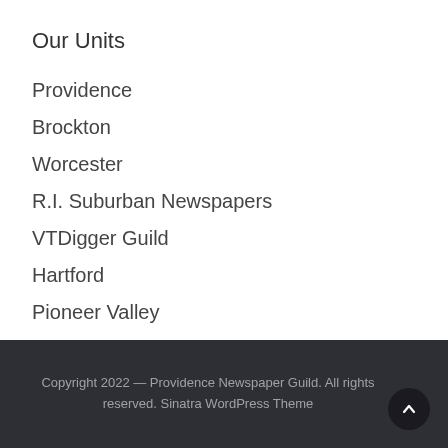Our Units
Providence
Brockton
Worcester
R.I. Suburban Newspapers
VTDigger Guild
Hartford
Pioneer Valley
Copyright 2022 — Providence Newspaper Guild. All rights reserved. Sinatra WordPress Theme